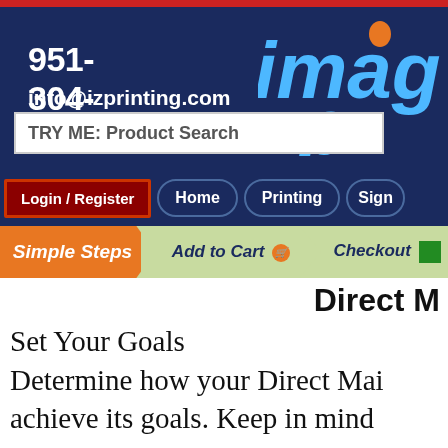951-304-1330 | info@izprinting.com
[Figure (logo): Imag P logo (partial) in blue italic text with orange dot accent]
TRY ME: Product Search
Login / Register | Home | Printing | Sign
Simple Steps → Add to Cart 🛒 → Checkout ✓
Direct M
Set Your Goals
Determine how your Direct Mai achieve its goals. Keep in mind